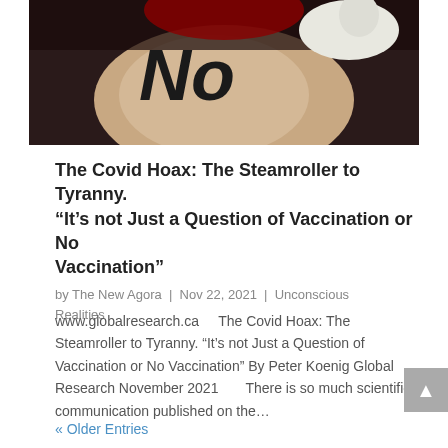[Figure (photo): A hand with 'No' written in black ink on the palm, held up facing the camera. A gloved hand (medical/white glove) is visible in the background, suggesting a vaccination context.]
The Covid Hoax: The Steamroller to Tyranny. “It’s not Just a Question of Vaccination or No Vaccination”
by The New Agora | Nov 22, 2021 | Unconscious Realities
www.globalresearch.ca     The Covid Hoax: The Steamroller to Tyranny. “It’s not Just a Question of Vaccination or No Vaccination” By Peter Koenig Global Research November 2021       There is so much scientific communication published on the…
« Older Entries